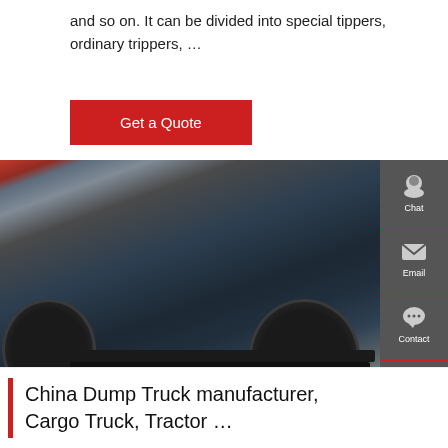and so on. It can be divided into special tippers, ordinary trippers, …
[Figure (other): Red 'Get a Quote' button]
[Figure (photo): Underside of a large dump truck showing chassis, wheels, suspension, and undercarriage components. Vehicle is photographed from low angle showing tires, axles, and the steel body above.]
China Dump Truck manufacturer, Cargo Truck, Tractor …